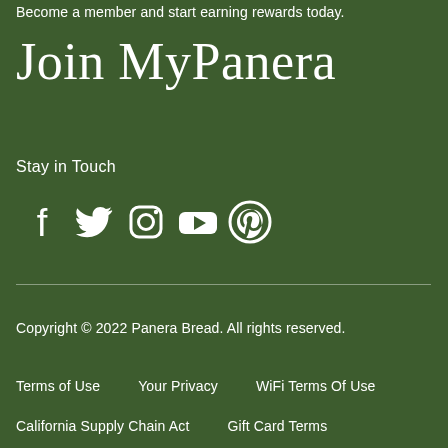Become a member and start earning rewards today.
Join MyPanera
Stay in Touch
[Figure (illustration): Row of social media icons: Facebook, Twitter, Instagram, YouTube, Pinterest — all white on green background]
Copyright © 2022 Panera Bread. All rights reserved.
Terms of Use
Your Privacy
WiFi Terms Of Use
California Supply Chain Act
Gift Card Terms